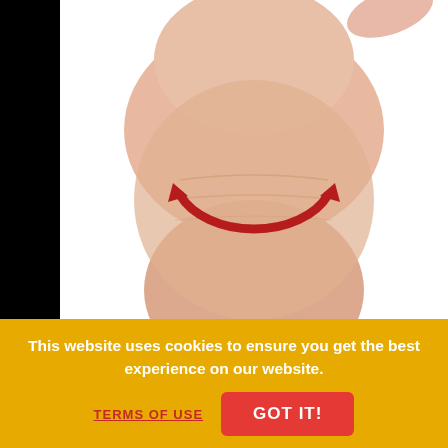[Figure (photo): Product photo of a person's neck/chin area with a red double-headed circular arrow indicating rotation or massage motion, shown against a white background on a black page background.]
On Sale $44.16 Was: $51.95 Save: $7.79 (15%)
ADD TO CART
FAVORITE
WISHLIST
✓ Free Shipping
This website uses cookies to ensure you get the best experience on our website.
TERMS OF USE
GOT IT!